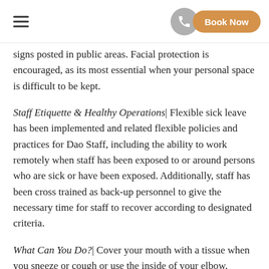≡  [phone icon]  Book Now
signs posted in public areas. Facial protection is encouraged, as its most essential when your personal space is difficult to be kept.
Staff Etiquette & Healthy Operations| Flexible sick leave has been implemented and related flexible policies and practices for Dao Staff, including the ability to work remotely when staff has been exposed to or around persons who are sick or have been exposed. Additionally, staff has been cross trained as back-up personnel to give the necessary time for staff to recover according to designated criteria.
What Can You Do?| Cover your mouth with a tissue when you sneeze or cough or use the inside of your elbow. Throw away used tissues, and wash your hands frequently; upon entering the facility, before meals, after sneezing or coughing.